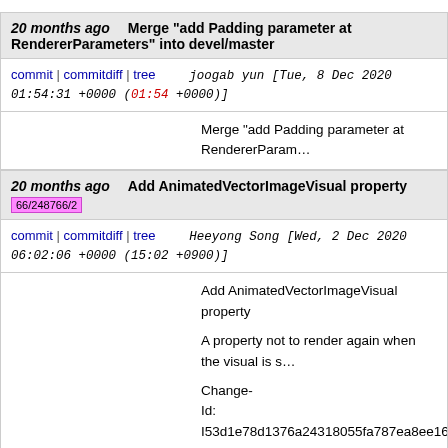20 months ago   Merge "add Padding parameter at RendererParameters" into devel/master
commit | commitdiff | tree   joogab yun [Tue, 8 Dec 2020 01:54:31 +0000 (01:54 +0000)]
Merge "add Padding parameter at RendererParam...
20 months ago   Add AnimatedVectorImageVisual property
66/248766/2
commit | commitdiff | tree   Heeyong Song [Wed, 2 Dec 2020 06:02:06 +0000 (15:02 +0900)]
Add AnimatedVectorImageVisual property

A property not to render again when the visual is s...

Change-Id: I53d1e78d1376a24318055fa787ea8ee16e4fa0...
20 months ago   Merge "Further refactoring of text-controller-impl" into devel/master
commit | commitdiff | tree   Adeel Kazmi [Fri, 4 Dec 2020 16:18:56 +0000 (16:18 +0000)]